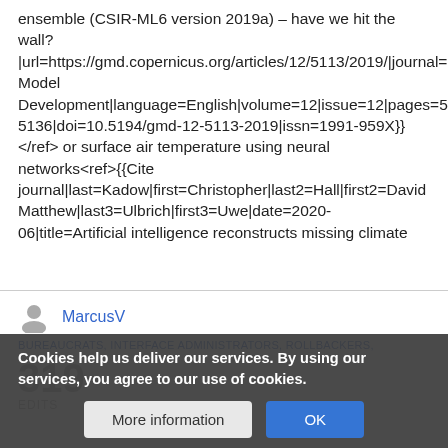ensemble (CSIR-ML6 version 2019a) – have we hit the wall? |url=https://gmd.copernicus.org/articles/12/5113/2019/|journal=Geoscientific Model Development|language=English|volume=12|issue=12|pages=5113–5136|doi=10.5194/gmd-12-5113-2019|issn=1991-959X}}</ref> or surface air temperature using neural networks<ref>{{Cite journal|last=Kadow|first=Christopher|last2=Hall|first2=David Matthew|last3=Ulbrich|first3=Uwe|date=2020-06|title=Artificial intelligence reconstructs missing climate
MarcusV
BUREAUCRATS, INTERFACE ADMINISTRATORS, ROLLBACKERS,
319 EDITS
Cookies help us deliver our services. By using our services, you agree to our use of cookies.
More information
OK